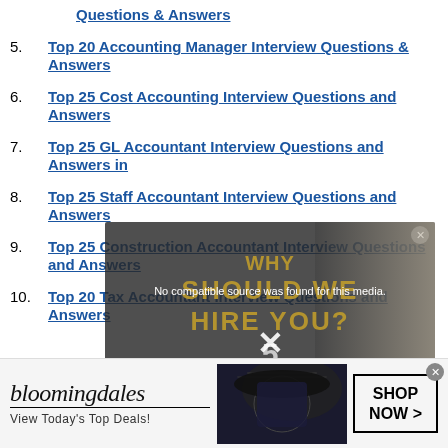Questions & Answers
5. Top 20 Accounting Manager Interview Questions & Answers
6. Top 25 Cost Accounting Interview Questions and Answers
7. Top 25 GL Accountant Interview Questions and Answers in
8. Top 25 Staff Accountant Interview Questions and Answers
9. Top 25 Construction Accountant Interview Questions and Answers
10. Top 20 Tax Accountant Interview Questions and Answers
[Figure (screenshot): Video overlay showing 'No compatible source was found for this media.' message with background text 'WHY SHOULD WE HIRE YOU? 5 Best Answers' and a close X button]
[Figure (other): Bloomingdale's advertisement banner with text 'bloomingdales View Today's Top Deals!' and 'SHOP NOW >' button]